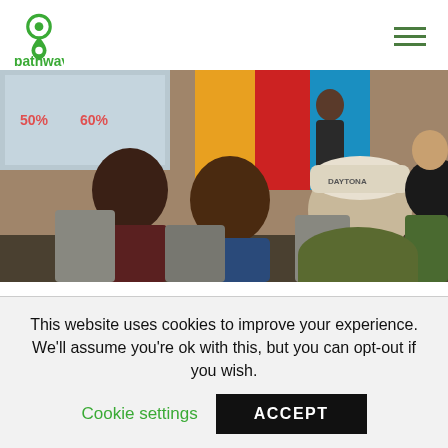pathways
[Figure (photo): Workshop attendees seated in chairs facing a presenter and screen at the front of a colorful room. A person wearing a white baseball cap with 'DAYTONA' is visible from behind in the foreground.]
We also invited digital marketer, public speaker, lecturer, and CEO of Huskee Digital, Miggy Azurin to give a workshop on how to fully utilize Google advertisements. Miggy gave the attendees of his workshop very helpful insight on which tools he uses in his work as a digital advertiser. He also gave the attendees of his workshop
This website uses cookies to improve your experience. We'll assume you're ok with this, but you can opt-out if you wish.
Cookie settings   ACCEPT